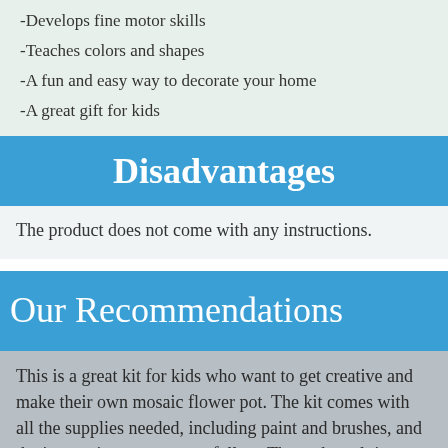-Develops fine motor skills
-Teaches colors and shapes
-A fun and easy way to decorate your home
-A great gift for kids
Disadvantages
The product does not come with any instructions.
Our Recommendations
This is a great kit for kids who want to get creative and make their own mosaic flower pot. The kit comes with all the supplies needed, including paint and brushes, and the instructions are easy to follow. The end result is a beautiful and unique flower pot that can be used to hold flowers or plants. I highly recommend this kit for